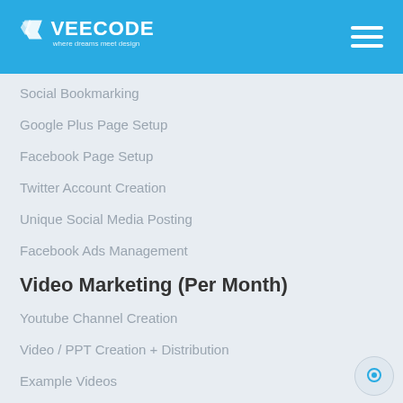VEECODE — where dreams meet design
Social Bookmarking
Google Plus Page Setup
Facebook Page Setup
Twitter Account Creation
Unique Social Media Posting
Facebook Ads Management
Video Marketing (Per Month)
Youtube Channel Creation
Video / PPT Creation + Distribution
Example Videos
Local Search Optimization